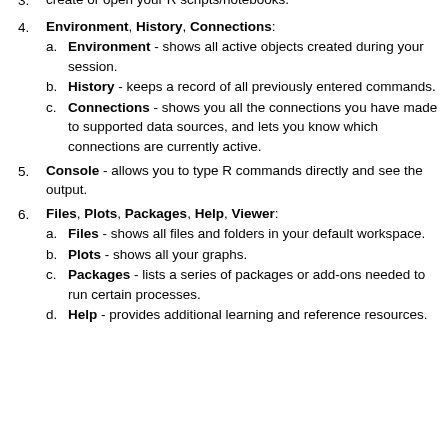create or open your R scripts/notebooks.
Environment, History, Connections: a. Environment - shows all active objects created during your session. b. History - keeps a record of all previously entered commands. c. Connections - shows you all the connections you have made to supported data sources, and lets you know which connections are currently active.
Console - allows you to type R commands directly and see the output.
Files, Plots, Packages, Help, Viewer: a. Files - shows all files and folders in your default workspace. b. Plots - shows all your graphs. c. Packages - lists a series of packages or add-ons needed to run certain processes. d. Help - provides additional learning and reference resources.